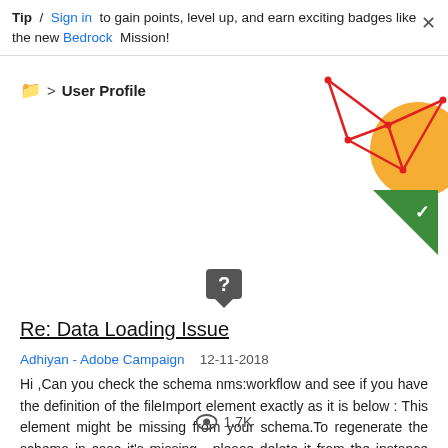Tip / Sign in to gain points, level up, and earn exciting badges like the new Bedrock Mission!
> User Profile
[Figure (illustration): Decorative geometric red lines and orange circle shape in top-right corner]
[Figure (illustration): Green triangle badge with white checkmark]
[Figure (illustration): Dark grey question mark icon/badge]
Re: Data Loading Issue
Adhiyan - Adobe Campaign  12-11-2018
Hi ,Can you check the schema nms:workflow and see if you have the definition of the fileImport element exactly as it is below : This element might be missing from your schema.To regenerate the schema in case it's missing , please delete it from the instance (after taking a backup) and then run a postupgrade -force to get the schema back from the DB.Regards,Adhiyan
1.7K